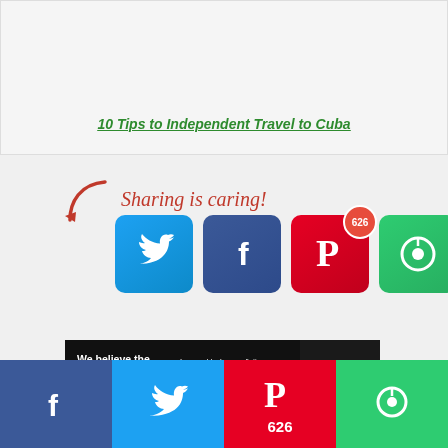[Figure (screenshot): Article preview box showing a link titled '10 Tips to Independent Travel to Cuba' in green italic underlined text on light grey background]
Sharing is caring!
[Figure (infographic): Social sharing buttons: Twitter (blue bird icon), Facebook (blue f icon), Pinterest (red P icon with 626 share badge), and a green circle/share icon]
[Figure (infographic): Pure Earth advertisement banner: 'We believe the global pollution crisis can be solved.' with JOIN US call to action and Pure Earth logo]
[Figure (infographic): Bottom social share bar with Facebook (blue), Twitter (light blue), Pinterest (red, count 626), and circle share (green) buttons]